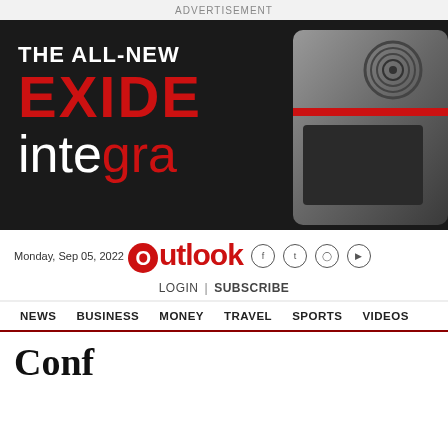ADVERTISEMENT
[Figure (illustration): Exide Integra advertisement banner with dark background. Text reads 'THE ALL-NEW' in white, 'EXIDE' in bold red, 'integra' in white and red mixed lettering. A dark device/inverter is partially visible on the right side.]
Monday, Sep 05, 2022 | Outlook | LOGIN | SUBSCRIBE
NEWS   BUSINESS   MONEY   TRAVEL   SPORTS   VIDEOS
Conf...